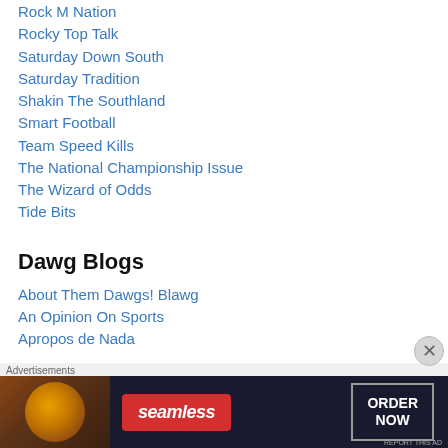Rock M Nation
Rocky Top Talk
Saturday Down South
Saturday Tradition
Shakin The Southland
Smart Football
Team Speed Kills
The National Championship Issue
The Wizard of Odds
Tide Bits
Dawg Blogs
About Them Dawgs! Blawg
An Opinion On Sports
Apropos de Nada
[Figure (other): Seamless food delivery advertisement banner with pizza image, Seamless logo, and ORDER NOW button]